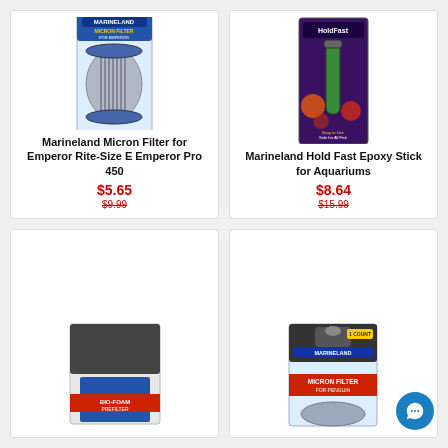[Figure (photo): Marineland Micron Filter for Emperor Rite-Size E Emperor Pro 450 product box]
Marineland Micron Filter for Emperor Rite-Size E Emperor Pro 450
$5.65
$9.99
[Figure (photo): Marineland Hold Fast Epoxy Stick for Aquariums product packaging]
Marineland Hold Fast Epoxy Stick for Aquariums
$8.64
$15.99
[Figure (photo): Marineland Bio-Foam Pre-filter product box, partially visible]
[Figure (photo): Marineland Micron Filter for Penguin product box, partially visible]